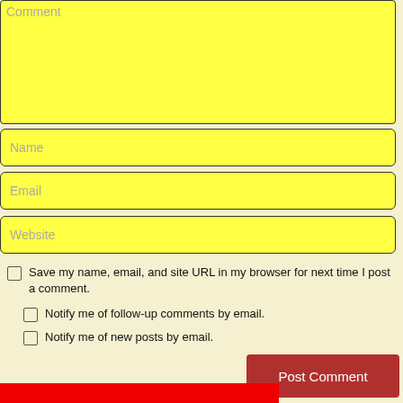Comment (textarea placeholder)
Name (input placeholder)
Email (input placeholder)
Website (input placeholder)
Save my name, email, and site URL in my browser for next time I post a comment.
Notify me of follow-up comments by email.
Notify me of new posts by email.
Post Comment